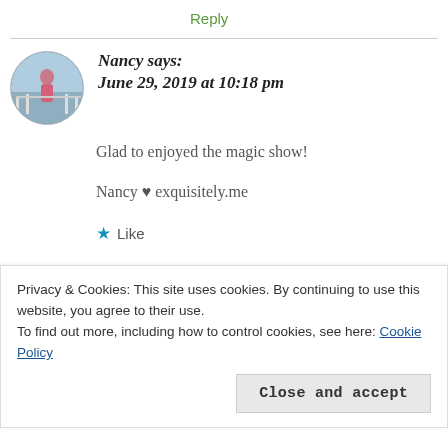Reply
Nancy says:
June 29, 2019 at 10:18 pm
Glad to enjoyed the magic show!
Nancy ♥ exquisitely.me
★ Like
Privacy & Cookies: This site uses cookies. By continuing to use this website, you agree to their use.
To find out more, including how to control cookies, see here: Cookie Policy
Close and accept